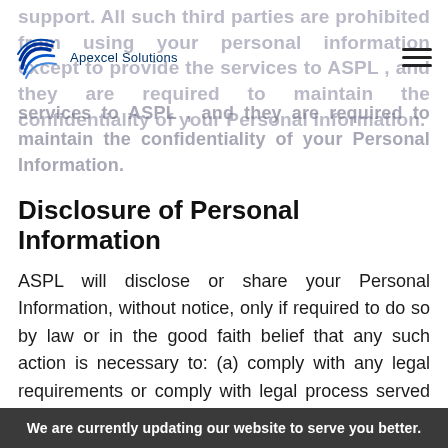support. All such third parties are prohibited from using your personal information except to provide the services to ASPL , and they are required to maintain the confidentiality of your Personal Information.
Disclosure of Personal Information
ASPL will disclose or share your Personal Information, without notice, only if required to do so by law or in the good faith belief that any such action is necessary to: (a) comply with any legal requirements or comply with legal process served on ASPL or the Website; (b) protect and defend the rights or property of ASPL; and (c) act under exigent circumstances to protect the
We are currently updating our website to serve you better.